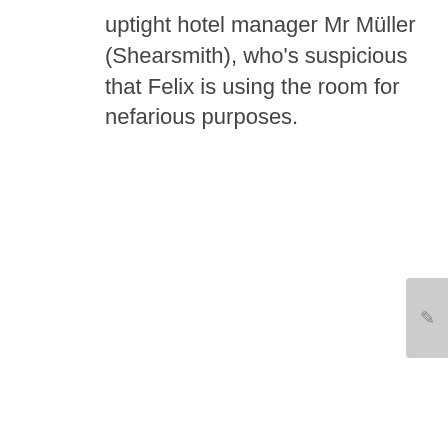uptight hotel manager Mr Müller (Shearsmith), who's suspicious that Felix is using the room for nefarious purposes.